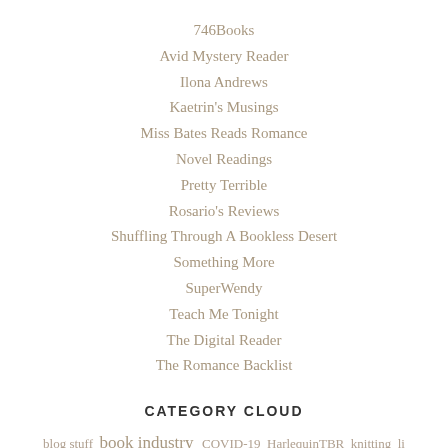746Books
Avid Mystery Reader
Ilona Andrews
Kaetrin's Musings
Miss Bates Reads Romance
Novel Readings
Pretty Terrible
Rosario's Reviews
Shuffling Through A Bookless Desert
Something More
SuperWendy
Teach Me Tonight
The Digital Reader
The Romance Backlist
CATEGORY CLOUD
blog stuff  book industry  COVID-19  HarlequinTBR  knitting  li…  personal  photography  politics  privacy  productivit…